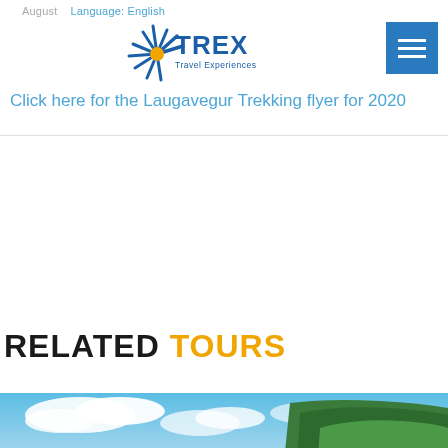August   Language: English
[Figure (logo): TREX Travel Experiences logo with sunburst/star graphic in blue and orange]
Click here for the Laugavegur Trekking flyer for 2020
RELATED TOURS
[Figure (photo): Landscape photograph showing blue sky with white clouds over mountains and green forested hillside]